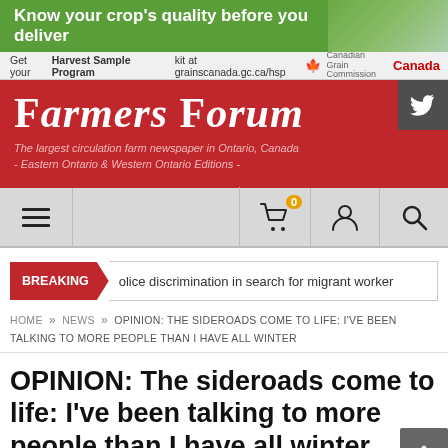[Figure (infographic): Green advertisement banner: 'Know your crop's quality before you deliver' with a photo of a farmer on the right]
Get your Harvest Sample Program kit at grainscanada.gc.ca/hsp  Canada
FARMERS FORUM
The largest circulation farm newspaper in Ontario, Canada
- Eastern Ontario & Western Ontario Editions -
[Figure (infographic): Navigation bar with hamburger menu on left, cart icon with 0 badge, user icon, and search icon on right]
BREAKING  olice discrimination in search for migrant worker
HOME » NEWS » OPINION: THE SIDEROADS COME TO LIFE: I'VE BEEN TALKING TO MORE PEOPLE THAN I HAVE ALL WINTER
OPINION: The sideroads come to life: I've been talking to more people than I have all winter